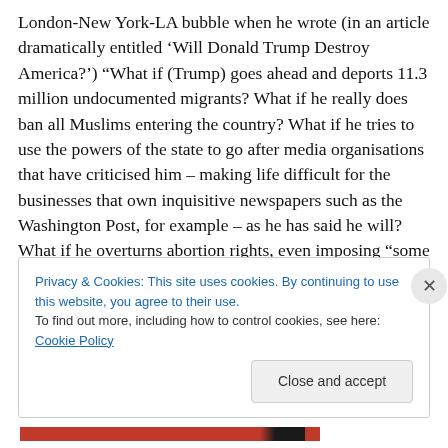London-New York-LA bubble when he wrote (in an article dramatically entitled ‘Will Donald Trump Destroy America?’) “What if (Trump) goes ahead and deports 11.3 million undocumented migrants? What if he really does ban all Muslims entering the country? What if he tries to use the powers of the state to go after media organisations that have criticised him – making life difficult for the businesses that own inquisitive newspapers such as the Washington Post, for example – as he has said he will? What if he overturns abortion rights, even imposing “some form of punishment” on a woman who terminates a
Privacy & Cookies: This site uses cookies. By continuing to use this website, you agree to their use.
To find out more, including how to control cookies, see here: Cookie Policy
Close and accept